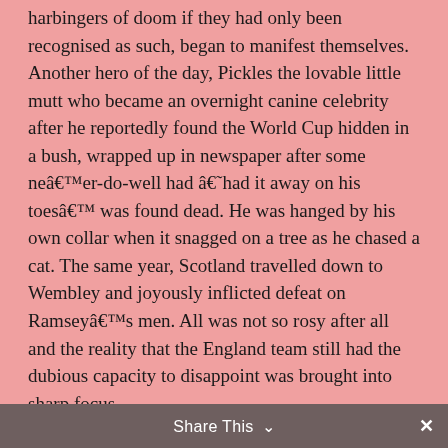harbingers of doom if they had only been recognised as such, began to manifest themselves. Another hero of the day, Pickles the lovable little mutt who became an overnight canine celebrity after he reportedly found the World Cup hidden in a bush, wrapped up in newspaper after some neâ€™er-do-well had â€˜had it away on his toesâ€™ was found dead. He was hanged by his own collar when it snagged on a tree as he chased a cat. The same year, Scotland travelled down to Wembley and joyously inflicted defeat on Ramseyâ€™s men. All was not so rosy after all and the reality that the England team still had the dubious capacity to disappoint was brought into sharp focus.
From then, with a few honourable exceptions along the way, the next 50 years or so have seen a steady erosion of the doomed love affair between England teams and the fans who follow the national side. Like star-crossed
Share This ∨  ✕